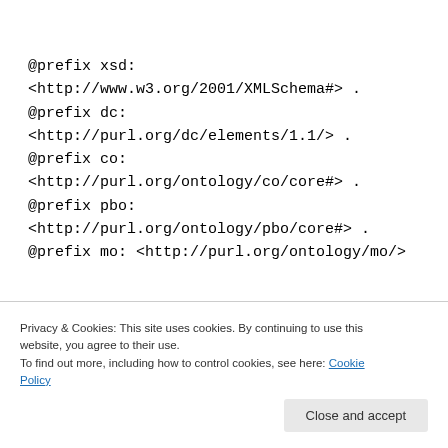@prefix xsd: <http://www.w3.org/2001/XMLSchema#> .
@prefix dc: <http://purl.org/dc/elements/1.1/> .
@prefix co: <http://purl.org/ontology/co/core#> .
@prefix pbo: <http://purl.org/ontology/pbo/core#> .
@prefix mo: <http://purl.org/ontology/mo/>
Privacy & Cookies: This site uses cookies. By continuing to use this website, you agree to their use.
To find out more, including how to control cookies, see here: Cookie Policy